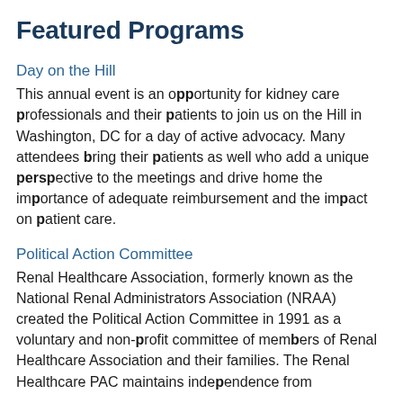Featured Programs
Day on the Hill
This annual event is an opportunity for kidney care professionals and their patients to join us on the Hill in Washington, DC for a day of active advocacy. Many attendees bring their patients as well who add a unique perspective to the meetings and drive home the importance of adequate reimbursement and the impact on patient care.
Political Action Committee
Renal Healthcare Association, formerly known as the National Renal Administrators Association (NRAA) created the Political Action Committee in 1991 as a voluntary and non-profit committee of members of Renal Healthcare Association and their families. The Renal Healthcare PAC maintains independence from